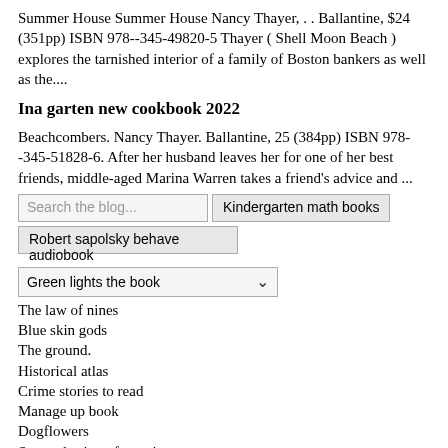Summer House Summer House Nancy Thayer, . . Ballantine, $24 (351pp) ISBN 978--345-49820-5 Thayer ( Shell Moon Beach ) explores the tarnished interior of a family of Boston bankers as well as the....
Ina garten new cookbook 2022
Beachcombers. Nancy Thayer. Ballantine, 25 (384pp) ISBN 978--345-51828-6. After her husband leaves her for one of her best friends, middle-aged Marina Warren takes a friend's advice and ...
Search the blog... | Kindergarten math books
Robert sapolsky behave audiobook
Green lights the book
The law of nines
Blue skin gods
The ground.
Historical atlas
Crime stories to read
Manage up book
Dogflowers
Secret destiny of america
Great book I've read numerous books the first 6 months of 2017, and this book has been the best. Unfortunately, it was so good, I blew through it in less than 2 days. I wish these kind of books had